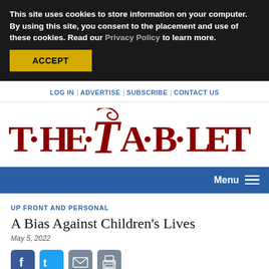This site uses cookies to store information on your computer. By using this site, you consent to the placement and use of these cookies. Read our Privacy Policy to learn more.
ACCEPT
LOG IN | ADVERTISE | SUBSCRIBE | CONTACT US
[Figure (logo): The Tablet masthead logo in dark red serif lettering]
Menu
UP FRONT AND PERSONAL
A Bias Against Children's Lives
May 5, 2022
[Figure (infographic): Social sharing icons: Facebook, Twitter, Email, Print]